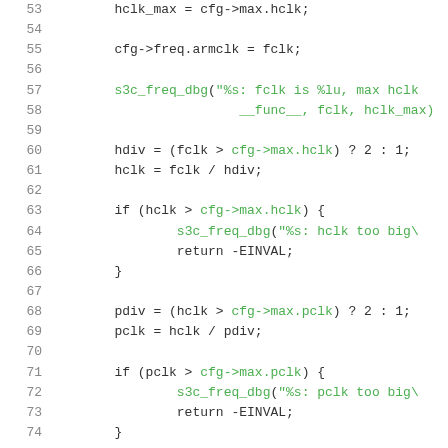Source code listing, lines 53-74, C language kernel clock frequency code